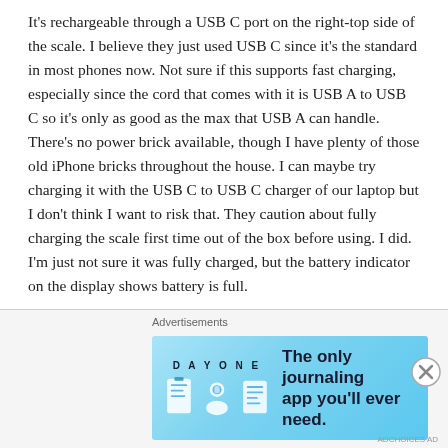It's rechargeable through a USB C port on the right-top side of the scale. I believe they just used USB C since it's the standard in most phones now. Not sure if this supports fast charging, especially since the cord that comes with it is USB A to USB C so it's only as good as the max that USB A can handle. There's no power brick available, though I have plenty of those old iPhone bricks throughout the house. I can maybe try charging it with the USB C to USB C charger of our laptop but I don't think I want to risk that. They caution about fully charging the scale first time out of the box before using. I did. I'm just not sure it was fully charged, but the battery indicator on the display shows battery is full.
The display is white on white. It's generally not difficult to see, but I tried it with sunlight hitting the display and it was slightly washed out. It's calibrated out of the box so you can use it immediately, but if you still want to make sure (and have a proper set of weights), I saw a video on Youtube on
[Figure (screenshot): Advertisement banner for DAY ONE journaling app. Light blue background with icons of a journal, person, and notepad on the left, and the text 'The only journaling app you'll ever need.' on the right. Close button (X in circle) on right side.]